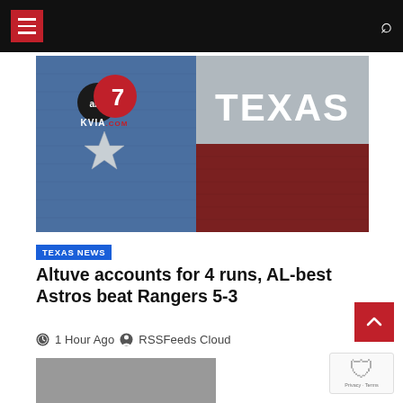Navigation header with menu and search
[Figure (photo): KVIA ABC7 Texas news station logo overlaid on a Texas flag mural made of brick — left half blue with white star and ABC7/KVIA.com logo, right half split gray (top) and dark red (bottom) with large white TEXAS text]
TEXAS NEWS
Altuve accounts for 4 runs, AL-best Astros beat Rangers 5-3
1 Hour Ago   RSSFeeds Cloud